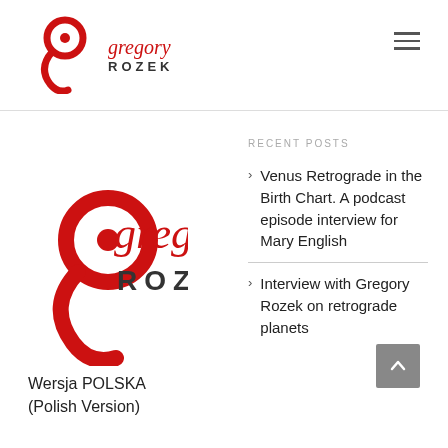[Figure (logo): Gregory Rozek logo in header - red circular G symbol with dot and red 'gregory' italic text, 'ROZEK' bold caps below]
[Figure (logo): Gregory Rozek logo in main content area - larger version of red circular G symbol with dot and red 'gregory' italic text, 'ROZEK' bold caps below]
RECENT POSTS
Venus Retrograde in the Birth Chart. A podcast episode interview for Mary English
Interview with Gregory Rozek on retrograde planets
Wersja POLSKA
(Polish Version)